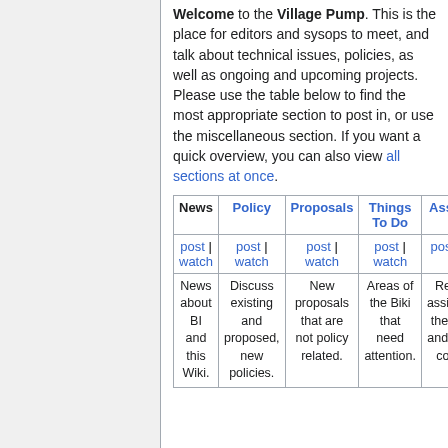Welcome to the Village Pump. This is the place for editors and sysops to meet, and talk about technical issues, policies, as well as ongoing and upcoming projects. Please use the table below to find the most appropriate section to post in, or use the miscellaneous section. If you want a quick overview, you can also view all sections at once.
| News | Policy | Proposals | Things To Do | Assis... |
| --- | --- | --- | --- | --- |
| post | watch | post | watch | post | watch | post | watch | post | |
| News about BI and this Wiki. | Discuss existing and proposed, new policies. | New proposals that are not policy related. | Areas of the Biki that need attention. | Req assistance the cr and up cont |